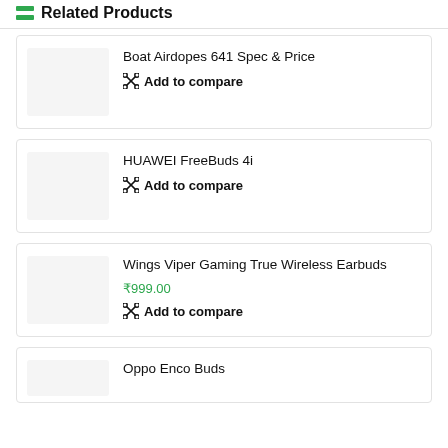Related Products
Boat Airdopes 641 Spec & Price
Add to compare
HUAWEI FreeBuds 4i
Add to compare
Wings Viper Gaming True Wireless Earbuds
₹999.00
Add to compare
Oppo Enco Buds